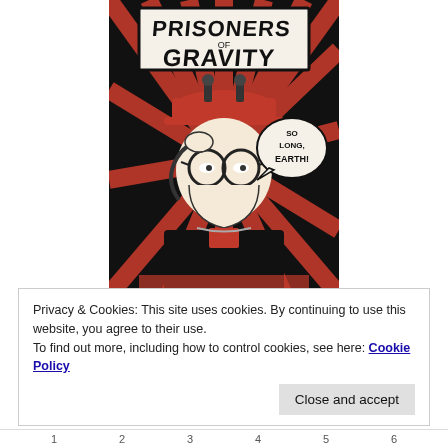[Figure (illustration): Comic book style illustration titled 'Prisoners of Gravity' showing a person wearing round glasses, a red cap with antennas, saluting, with a speech bubble saying 'SO LONG, EARTH!' The background has red and black radiating lines.]
Privacy & Cookies: This site uses cookies. By continuing to use this website, you agree to their use.
To find out more, including how to control cookies, see here: Cookie Policy
Close and accept
1  2  3  4  5  6